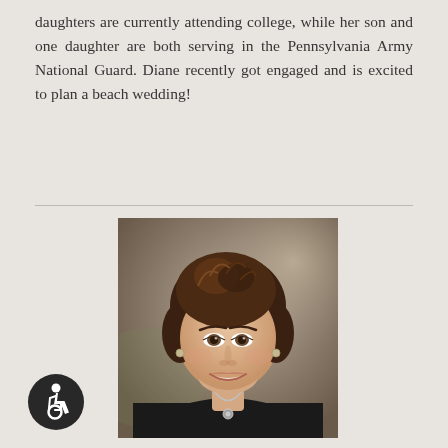daughters are currently attending college, while her son and one daughter are both serving in the Pennsylvania Army National Guard. Diane recently got engaged and is excited to plan a beach wedding!
[Figure (photo): Professional headshot of a woman with short brown hair wearing a black top and silver necklace, against a muted brown/gray studio background.]
[Figure (illustration): Accessibility icon: white wheelchair symbol on a dark circular background, bottom-left corner.]